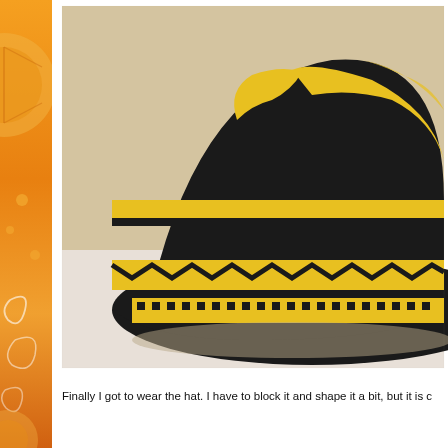[Figure (photo): Close-up photograph of a crocheted hat with black and yellow pattern, showing a hazmat/biohazard symbol design on top and decorative bands around the brim. The hat is placed on a white surface.]
Finally I got to wear the hat. I have to block it and shape it a bit, but it is c